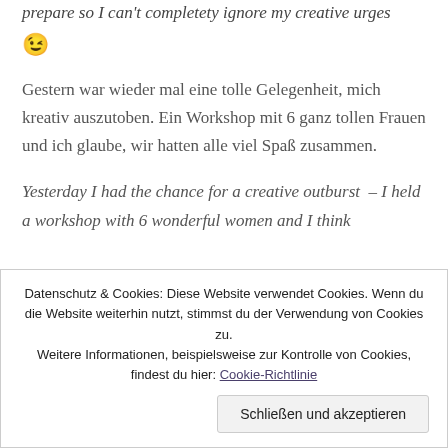prepare so I can't completety ignore my creative urges 😉
Gestern war wieder mal eine tolle Gelegenheit, mich kreativ auszutoben. Ein Workshop mit 6 ganz tollen Frauen und ich glaube, wir hatten alle viel Spaß zusammen.
Yesterday I had the chance for a creative outburst – I held a workshop with 6 wonderful women and I think
Datenschutz & Cookies: Diese Website verwendet Cookies. Wenn du die Website weiterhin nutzt, stimmst du der Verwendung von Cookies zu. Weitere Informationen, beispielsweise zur Kontrolle von Cookies, findest du hier: Cookie-Richtlinie
Schließen und akzeptieren